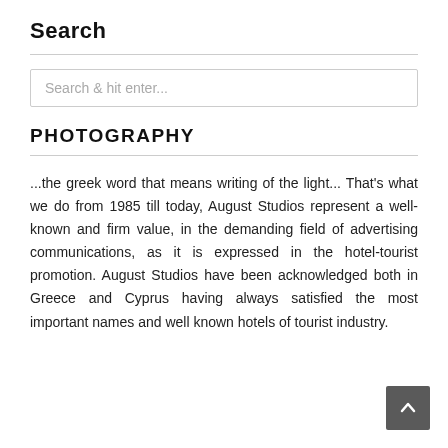Search
[Figure (screenshot): Search input box with placeholder text 'Search & hit enter...']
PHOTOGRAPHY
...the greek word that means writing of the light... That's what we do from 1985 till today, August Studios represent a well-known and firm value, in the demanding field of advertising communications, as it is expressed in the hotel-tourist promotion. August Studios have been acknowledged both in Greece and Cyprus having always satisfied the most important names and well known hotels of tourist industry.